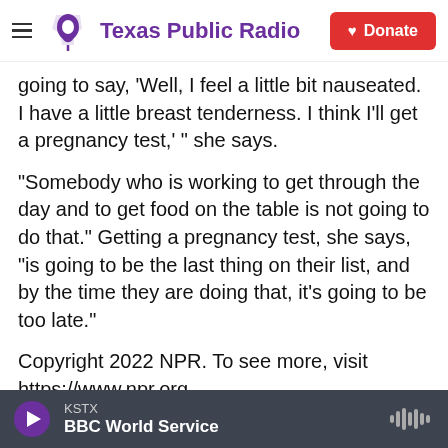Texas Public Radio | Donate
going to say, 'Well, I feel a little bit nauseated. I have a little breast tenderness. I think I'll get a pregnancy test,' " she says.
"Somebody who is working to get through the day and to get food on the table is not going to do that." Getting a pregnancy test, she says, "is going to be the last thing on their list, and by the time they are doing that, it's going to be too late."
Copyright 2022 NPR. To see more, visit https://www.npr.org.
Tags  Bioscience Medicine
KSTX  BBC World Service